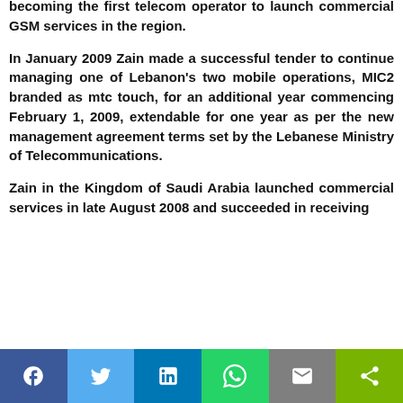becoming the first telecom operator to launch commercial GSM services in the region.
In January 2009 Zain made a successful tender to continue managing one of Lebanon's two mobile operations, MIC2 branded as mtc touch, for an additional year commencing February 1, 2009, extendable for one year as per the new management agreement terms set by the Lebanese Ministry of Telecommunications.
Zain in the Kingdom of Saudi Arabia launched commercial services in late August 2008 and succeeded in receiving
[Figure (other): Social share bar with buttons: Facebook (blue), Twitter (light blue), LinkedIn (dark blue), WhatsApp (green), Email (gray), Share (lime green)]